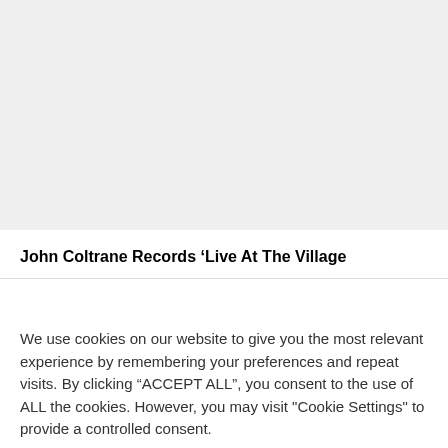[Figure (photo): Blurred/faded background image area (top portion of page)]
John Coltrane Records ‘Live At The Village
We use cookies on our website to give you the most relevant experience by remembering your preferences and repeat visits. By clicking “ACCEPT ALL”, you consent to the use of ALL the cookies. However, you may visit "Cookie Settings" to provide a controlled consent.
Cookie Settings   REJECT ALL   ACCEPT ALL